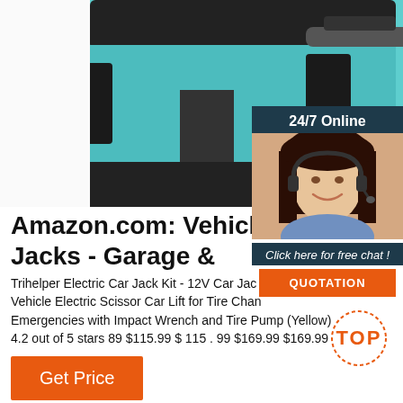[Figure (photo): Close-up photo of a teal/turquoise electric car jack device with black components and mechanical parts visible]
[Figure (photo): 24/7 Online chat widget with female customer service agent wearing headset, with 'Click here for free chat!' text and orange QUOTATION button]
Amazon.com: Vehicle Lifts, Ho Jacks - Garage &
Trihelper Electric Car Jack Kit - 12V Car Jac Vehicle Electric Scissor Car Lift for Tire Cha Emergencies with Impact Wrench and Tire Pump (Yellow) 4.2 out of 5 stars 89 $115.99 $ 115 . 99 $169.99 $169.99
[Figure (logo): Orange TOP badge/watermark with dotted circle border]
Get Price